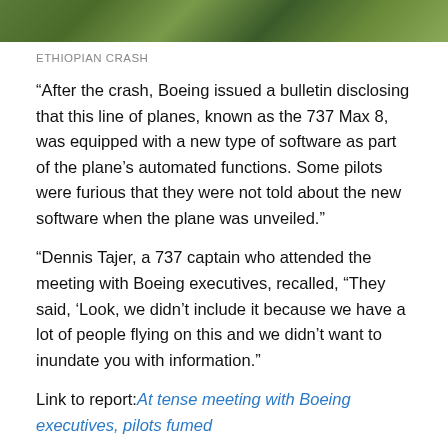[Figure (photo): Cropped aerial photo of crash site debris in green foliage, Ethiopian Airlines crash]
ETHIOPIAN CRASH
“After the crash, Boeing issued a bulletin disclosing that this line of planes, known as the 737 Max 8, was equipped with a new type of software as part of the plane’s automated functions. Some pilots were furious that they were not told about the new software when the plane was unveiled.”
“Dennis Tajer, a 737 captain who attended the meeting with Boeing executives, recalled, “They said, ‘Look, we didn’t include it because we have a lot of people flying on this and we didn’t want to inundate you with information.”
Link to report: At tense meeting with Boeing executives, pilots fumed